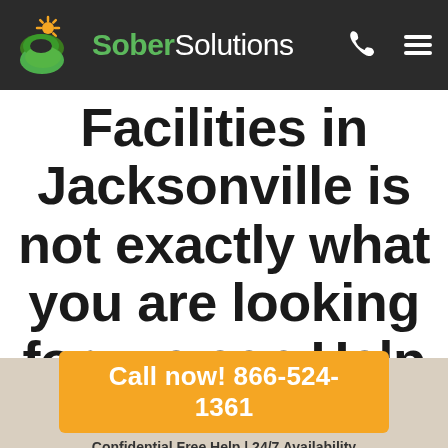[Figure (logo): Sober Solutions logo with green S icon and sun, white text on dark navbar]
Facilities in Jacksonville is not exactly what you are looking for, we can Help you with the following other
Call now! 866-524-1361
Confidential Free Help | 24/7 Availability